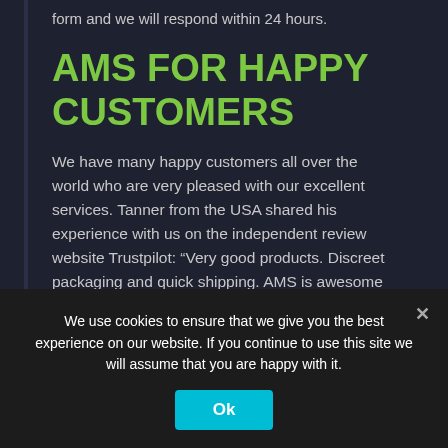form and we will respond within 24 hours.
AMS FOR HAPPY CUSTOMERS
We have many happy customers all over the world who are very pleased with our excellent services. Tanner from the USA shared his experience with us on the independent review website Trustpilot: “Very good products. Discreet packaging and quick shipping. AMS is awesome to do business with!” Do you want to share your experience with us too? We would really appreciate it.
DISCOUNT ALERT!
We use cookies to ensure that we give you the best experience on our website. If you continue to use this site we will assume that you are happy with it.